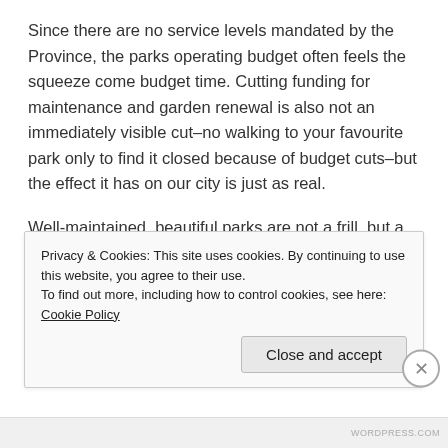Since there are no service levels mandated by the Province, the parks operating budget often feels the squeeze come budget time. Cutting funding for maintenance and garden renewal is also not an immediately visible cut–no walking to your favourite park only to find it closed because of budget cuts–but the effect it has on our city is just as real.
Well-maintained, beautiful parks are not a frill, but a crucial component of the social and environmental infrastructure of our city. Research has shown that attractive, clean parks encourage more people to use them and instill a sense of neighbourhood pride, bringing both
Privacy & Cookies: This site uses cookies. By continuing to use this website, you agree to their use.
To find out more, including how to control cookies, see here: Cookie Policy
Close and accept